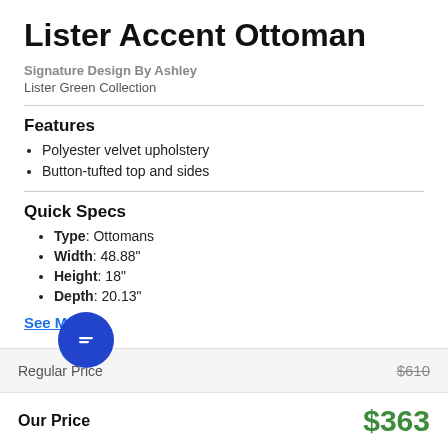Lister Accent Ottoman
Signature Design By Ashley
Lister Green Collection
Features
Polyester velvet upholstery
Button-tufted top and sides
Quick Specs
Type: Ottomans
Width: 48.88"
Height: 18"
Depth: 20.13"
See More
Regular Price  $610
Our Price  $363